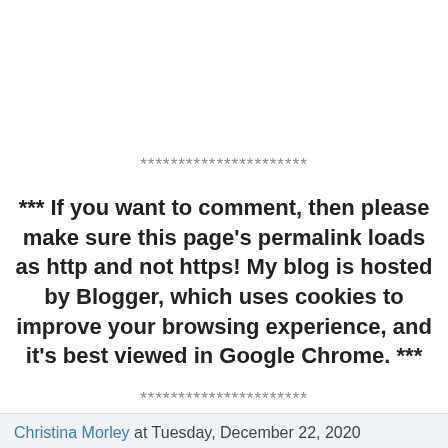**********************
*** If you want to comment, then please make sure this page's permalink loads as http and not https! My blog is hosted by Blogger, which uses cookies to improve your browsing experience, and it's best viewed in Google Chrome. ***
**********************
Christina Morley at Tuesday, December 22, 2020